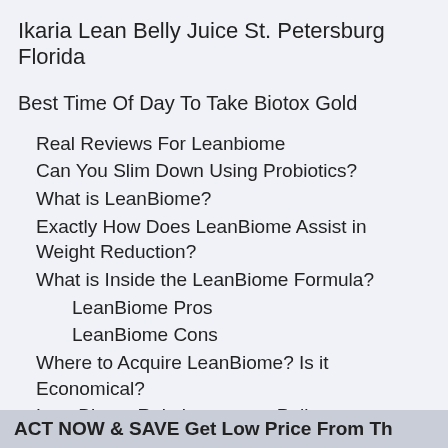Ikaria Lean Belly Juice St. Petersburg Florida
Best Time Of Day To Take Biotox Gold
Real Reviews For Leanbiome
Can You Slim Down Using Probiotics?
What is LeanBiome?
Exactly How Does LeanBiome Assist in Weight Reduction?
What is Inside the LeanBiome Formula?
LeanBiome Pros
LeanBiome Cons
Where to Acquire LeanBiome? Is it Economical?
LeanBiome Reimbursement Policy
LeanBiome Conclusion
ACT NOW & SAVE Get Low Price From Th